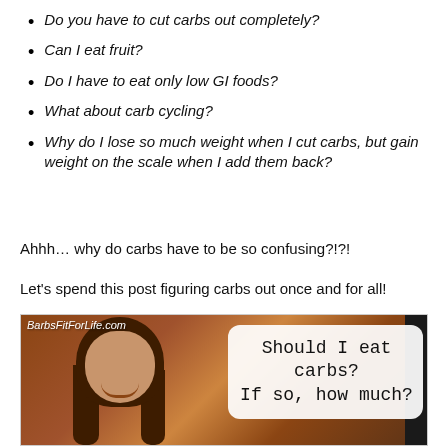Do you have to cut carbs out completely?
Can I eat fruit?
Do I have to eat only low GI foods?
What about carb cycling?
Why do I lose so much weight when I cut carbs, but gain weight on the scale when I add them back?
Ahhh… why do carbs have to be so confusing?!?!
Let’s spend this post figuring carbs out once and for all!
[Figure (photo): A smiling woman with long brown hair photographed indoors against a wood-paneled background. A speech bubble on the right reads 'Should I eat carbs? If so, how much?' The website watermark 'BarbsFitForLife.com' appears in the top-left corner of the image.]